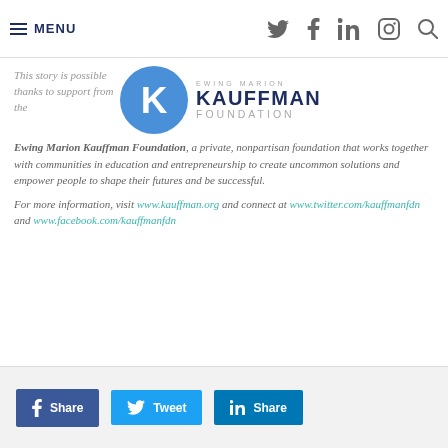MENU (navigation bar with social icons)
This story is possible thanks to support from the
[Figure (logo): Ewing Marion Kauffman Foundation logo: blue circle with white K, beside stacked text EWING MARION / KAUFFMAN / FOUNDATION]
Ewing Marion Kauffman Foundation, a private, nonpartisan foundation that works together with communities in education and entrepreneurship to create uncommon solutions and empower people to shape their futures and be successful.
For more information, visit www.kauffman.org and connect at www.twitter.com/kauffmanfdn and www.facebook.com/kauffmanfdn
Share  Tweet  Share (social share buttons)